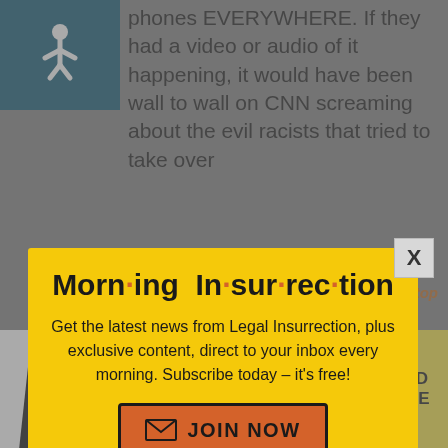[Figure (screenshot): Accessibility icon - wheelchair symbol on teal/dark blue background]
phones EVERYWHERE. If they had a video or audio of it happening, it would have been wall to wall on CNN screaming about the evil racists that tried to take over
[Figure (screenshot): Modal popup with yellow background titled 'Morning Insurrection' with orange dots between syllables. Contains text: Get the latest news from Legal Insurrection, plus exclusive content, direct to your inbox every morning. Subscribe today – it's free! With an orange JOIN NOW button with envelope icon.]
2021 at 9:am
Back to top
[Figure (advertisement): THE PERSPECTIVE advertisement banner with teal background reading SEE WHAT YOU'RE MISSING with READ MORE yellow button on right]